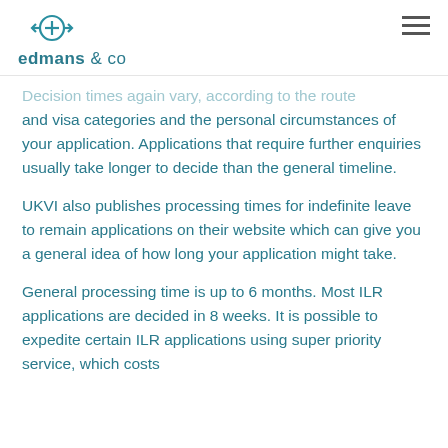edmans & co
Decision times again vary, according to the route and visa categories and the personal circumstances of your application. Applications that require further enquiries usually take longer to decide than the general timeline.
UKVI also publishes processing times for indefinite leave to remain applications on their website which can give you a general idea of how long your application might take.
General processing time is up to 6 months. Most ILR applications are decided in 8 weeks. It is possible to expedite certain ILR applications using super priority service, which costs...